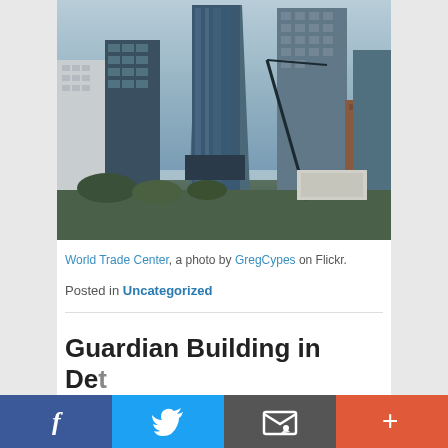[Figure (photo): Photograph of World Trade Center and surrounding skyscrapers in New York City, viewed from ground level, showing glass towers against a sky with clouds.]
World Trade Center, a photo by GregCypes on Flickr.
Posted in Uncategorized
Guardian Building in